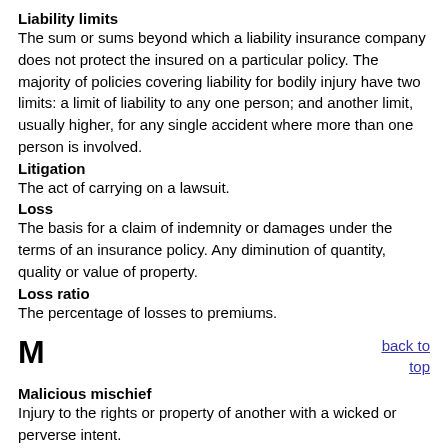Liability limits
The sum or sums beyond which a liability insurance company does not protect the insured on a particular policy. The majority of policies covering liability for bodily injury have two limits: a limit of liability to any one person; and another limit, usually higher, for any single accident where more than one person is involved.
Litigation
The act of carrying on a lawsuit.
Loss
The basis for a claim of indemnity or damages under the terms of an insurance policy. Any diminution of quantity, quality or value of property.
Loss ratio
The percentage of losses to premiums.
M
back to top
Malicious mischief
Injury to the rights or property of another with a wicked or perverse intent.
Multi-peril policy
Contrary to what the name might imply, the term "multi-peril policy" does not mean a policy insuring against two or more perils.